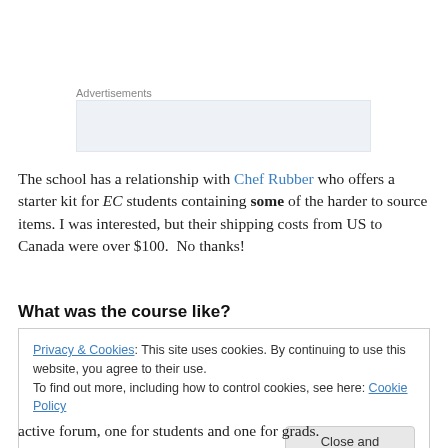Advertisements
[Figure (other): Advertisement placeholder box with light blue background]
The school has a relationship with Chef Rubber who offers a starter kit for EC students containing some of the harder to source items. I was interested, but their shipping costs from US to Canada were over $100.  No thanks!
What was the course like?
Privacy & Cookies: This site uses cookies. By continuing to use this website, you agree to their use.
To find out more, including how to control cookies, see here: Cookie Policy
[Close and accept]
active forum, one for students and one for grads.